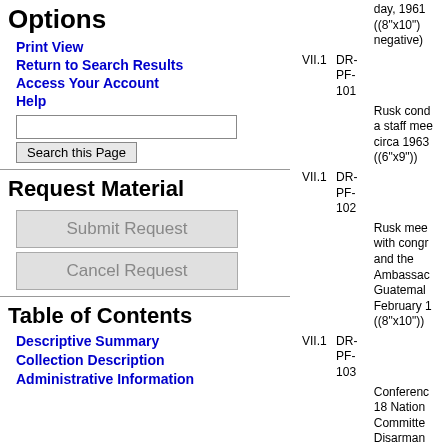Options
Print View
Return to Search Results
Access Your Account
Help
Request Material
Submit Request
Cancel Request
Table of Contents
Descriptive Summary
Collection Description
Administrative Information
| Vol | ID | Description |
| --- | --- | --- |
| VII.1 | DR-PF-101 | day, 1961 ((8"x10") negative) |
| VII.1 | DR-PF-102 | Rusk cond a staff mee circa 1963 ((6"x9")) |
| VII.1 | DR-PF-103 | Rusk mee with congr and the Ambassac Guatemal February 1 ((8"x10")) |
| VII.1 | DR-PF-104 | Conferenc 18 Nation Committe Disarman opens at G 1962 Marc ((8"x10")) |
| VII.1 | DR-PF-105 | US and Eu Economic Communit (Common Officials, 1 March 4 ( |